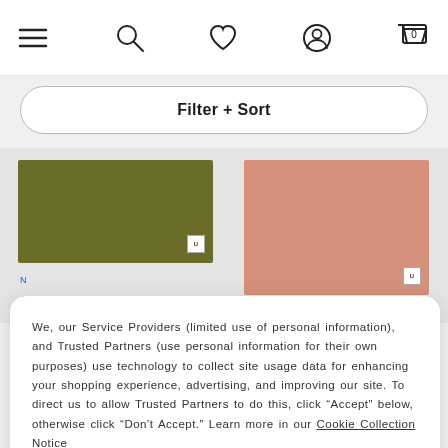[Figure (screenshot): Navigation bar with hamburger menu, search, heart/wishlist, user account, and shopping bag (0) icons]
Filter + Sort
[Figure (photo): Two product images: olive green wallet/cardholder on left, pink/salmon wallet/cardholder on right]
We, our Service Providers (limited use of personal information), and Trusted Partners (use personal information for their own purposes) use technology to collect site usage data for enhancing your shopping experience, advertising, and improving our site. To direct us to allow Trusted Partners to do this, click “Accept” below, otherwise click “Don’t Accept.” Learn more in our Cookie Collection Notice
Accept
Don't Accept